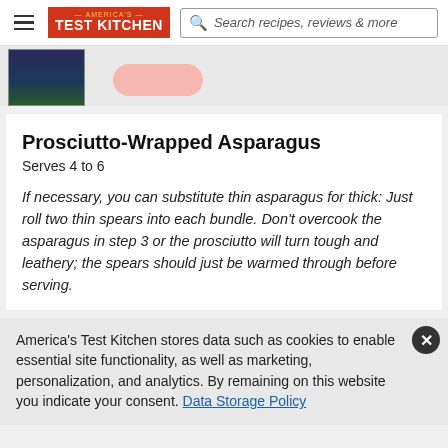America's Test Kitchen — Search recipes, reviews & more
[Figure (photo): Partial view of a book cover and a pink pill/button element]
Prosciutto-Wrapped Asparagus
Serves 4 to 6
If necessary, you can substitute thin asparagus for thick: Just roll two thin spears into each bundle. Don't overcook the asparagus in step 3 or the prosciutto will turn tough and leathery; the spears should just be warmed through before serving.
America's Test Kitchen stores data such as cookies to enable essential site functionality, as well as marketing, personalization, and analytics. By remaining on this website you indicate your consent. Data Storage Policy